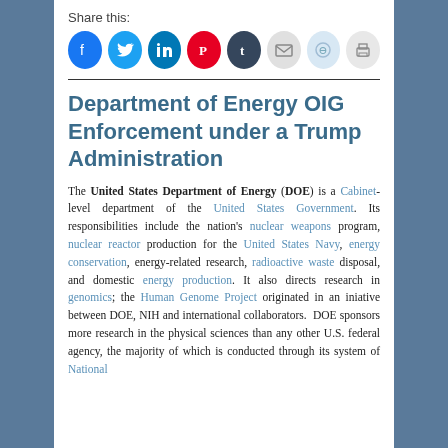Share this:
[Figure (infographic): Row of social media sharing icons: Facebook (blue), Twitter (blue), LinkedIn (dark blue), Pinterest (red), Tumblr (dark navy), Email (gray), Reddit (light blue), Print (light gray)]
Department of Energy OIG Enforcement under a Trump Administration
The United States Department of Energy (DOE) is a Cabinet-level department of the United States Government. Its responsibilities include the nation's nuclear weapons program, nuclear reactor production for the United States Navy, energy conservation, energy-related research, radioactive waste disposal, and domestic energy production. It also directs research in genomics; the Human Genome Project originated in an iniative between DOE, NIH and international collaborators. DOE sponsors more research in the physical sciences than any other U.S. federal agency, the majority of which is conducted through its system of National